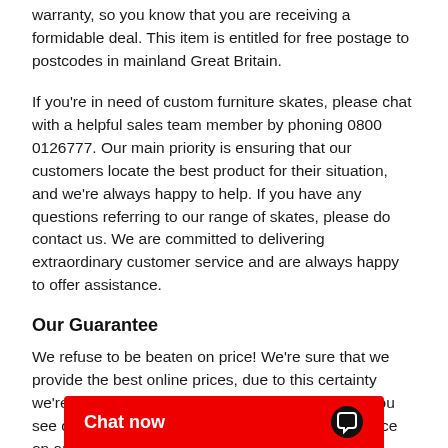warranty, so you know that you are receiving a formidable deal. This item is entitled for free postage to postcodes in mainland Great Britain.
If you're in need of custom furniture skates, please chat with a helpful sales team member by phoning 0800 0126777. Our main priority is ensuring that our customers locate the best product for their situation, and we're always happy to help. If you have any questions referring to our range of skates, please do contact us. We are committed to delivering extraordinary customer service and are always happy to offer assistance.
Our Guarantee
We refuse to be beaten on price! We're sure that we provide the best online prices, due to this certainty we're happy to offer a 100% price match. Should you see our furniture skates being sold at a cheaper price on any other website we will match that price.
When you buy furniture skates from The Workplace Depot, you'll never want to return to your previous option. 100% satisfaction is assured. If for any reason y... you can simply return it to...
[Figure (other): Red chat now button overlay at bottom of page with speech bubble icon]